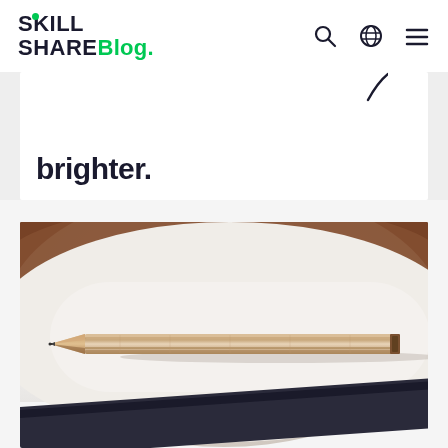SkillShare Blog.
brighter.
[Figure (photo): Close-up photograph of a sharpened wooden pencil resting on white paper with a dark notebook edge visible at the bottom. The background shows a dark wooden surface partially visible at the top.]